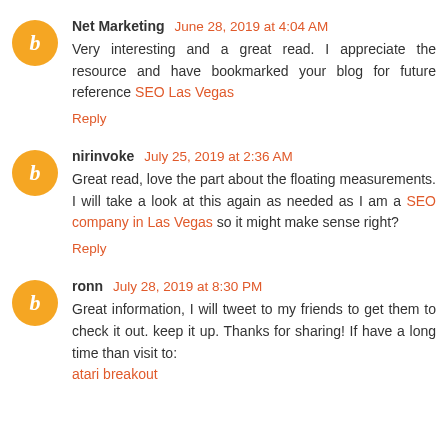Net Marketing  June 28, 2019 at 4:04 AM
Very interesting and a great read. I appreciate the resource and have bookmarked your blog for future reference SEO Las Vegas
Reply
nirinvoke  July 25, 2019 at 2:36 AM
Great read, love the part about the floating measurements. I will take a look at this again as needed as I am a SEO company in Las Vegas so it might make sense right?
Reply
ronn  July 28, 2019 at 8:30 PM
Great information, I will tweet to my friends to get them to check it out. keep it up. Thanks for sharing! If have a long time than visit to: atari breakout